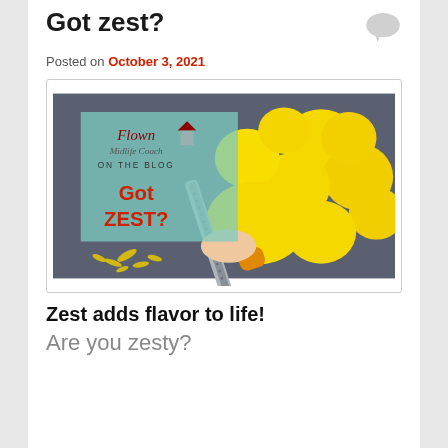Got zest?
Posted on October 3, 2021
[Figure (photo): Photo of lemons being zested with a grater, with a blog overlay graphic reading 'Flown Midlife Coach ON THE BLOG Got ZEST?' in teal and red on the left side of the image.]
Zest adds flavor to life!
Are you zesty?